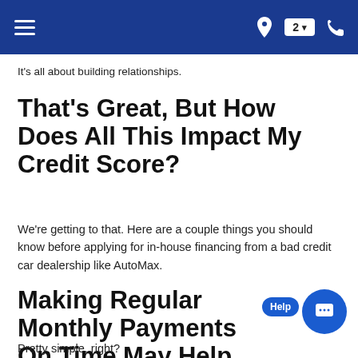It's all about building relationships.
That's Great, But How Does All This Impact My Credit Score?
We're getting to that. Here are a couple things you should know before applying for in-house financing from a bad credit car dealership like AutoMax.
Making Regular Monthly Payments On Time May Help Rebuild Your Good Credit.
Pretty simple, right?